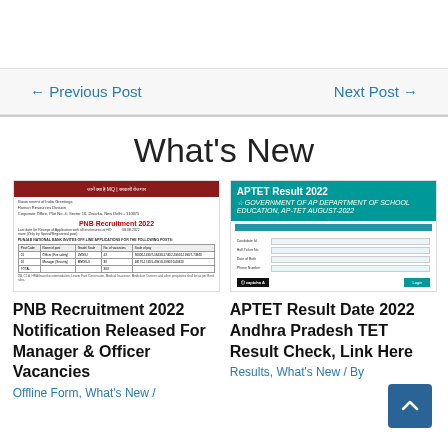← Previous Post    Next Post →
What's New
[Figure (screenshot): PNB Recruitment 2022 notification document screenshot showing table of vacancies]
[Figure (screenshot): APTET Result 2022 webpage screenshot with teal header and login form]
PNB Recruitment 2022 Notification Released For Manager & Officer Vacancies
Offline Form, What's New /
APTET Result Date 2022 Andhra Pradesh TET Result Check, Link Here
Results, What's New / By